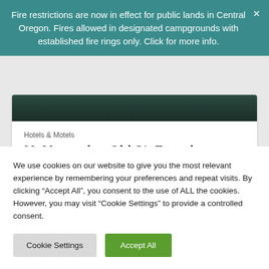Fire restrictions are now in effect for public lands in Central Oregon. Fires allowed in designated campgrounds with established fire rings only. Click for more info.
Hotels & Motels
McMenamins Old St. Francis School
[Figure (photo): Dark landscape photo strip at top of card]
We use cookies on our website to give you the most relevant experience by remembering your preferences and repeat visits. By clicking “Accept All”, you consent to the use of ALL the cookies. However, you may visit “Cookie Settings” to provide a controlled consent.